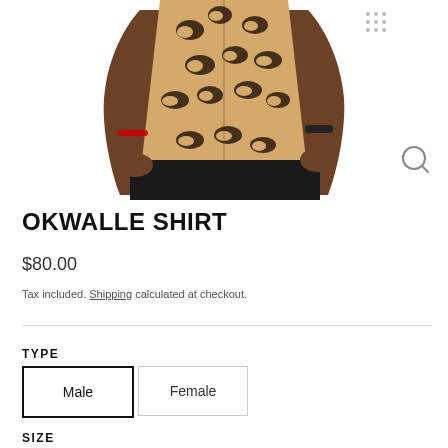[Figure (photo): A person wearing a leopard print shirt with black pants, cropped from waist up.]
OKWALLE SHIRT
$80.00
Tax included. Shipping calculated at checkout.
TYPE
Male
Female
SIZE
S
M
L
XL
XXL